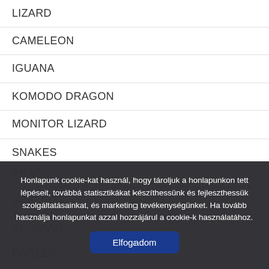LIZARD
CAMELEON
IGUANA
KOMODO DRAGON
MONITOR LIZARD
SNAKES
ANAC...
VINE BOA
34. AVIAN
EAGLES
AFRICAN GROUND EAGLE...
Honlapunk cookie-kat használ, hogy tároljuk a honlapunkon tett lépéseit, továbbá statisztikákat készíthessünk és fejleszthessük szolgáltatásainkat, és marketing tevékenységünket. Ha tovább használja honlapunkat azzal hozzájárul a cookie-k használatához.
Elfogadom